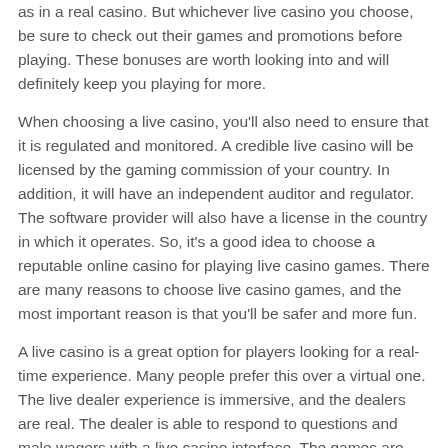as in a real casino. But whichever live casino you choose, be sure to check out their games and promotions before playing. These bonuses are worth looking into and will definitely keep you playing for more.
When choosing a live casino, you'll also need to ensure that it is regulated and monitored. A credible live casino will be licensed by the gaming commission of your country. In addition, it will have an independent auditor and regulator. The software provider will also have a license in the country in which it operates. So, it's a good idea to choose a reputable online casino for playing live casino games. There are many reasons to choose live casino games, and the most important reason is that you'll be safer and more fun.
A live casino is a great option for players looking for a real-time experience. Many people prefer this over a virtual one. The live dealer experience is immersive, and the dealers are real. The dealer is able to respond to questions and male wagers with a live casino interface. The games are designed with the player in mind, so they'll feel much more realistic. It's the perfect place to play your favorite casino games.
The Odds of Winning at Roulette